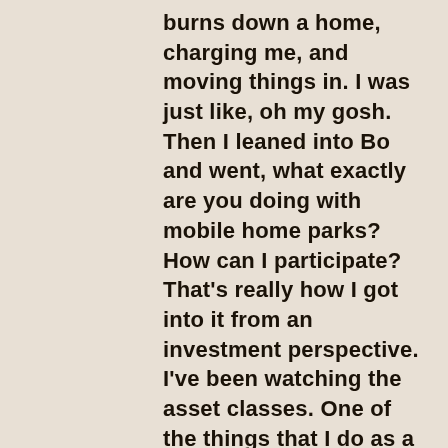burns down a home, charging me, and moving things in. I was just like, oh my gosh. Then I leaned into Bo and went, what exactly are you doing with mobile home parks? How can I participate? That's really how I got into it from an investment perspective. I've been watching the asset classes. One of the things that I do as a passive investor is I always have what I am investing in. What I invest in and then what I bring to my team is always different because I'll make investments where I'm trying to vet operators and do other things. Mobile home parks were always on my next list to go to. I really wanted to invest in somebody like Ryan